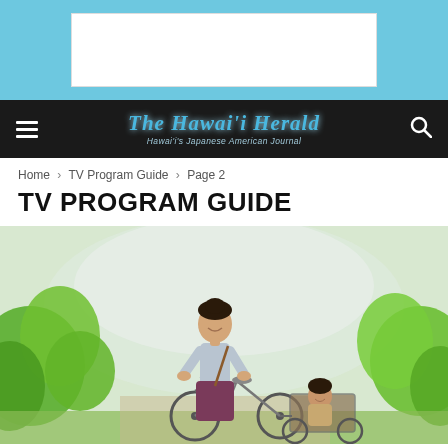[Figure (other): Advertisement banner area with light blue background and white ad box]
The Hawaii Herald — Hawaii's Japanese American Journal — navigation bar with hamburger menu, logo, and search icon
Home › TV Program Guide › Page 2
TV PROGRAM GUIDE
[Figure (photo): A young woman smiling and riding a bicycle with a child seated behind her in a cart, surrounded by green trees and a misty mountain background. Period costume suggesting historical Japanese rural setting.]